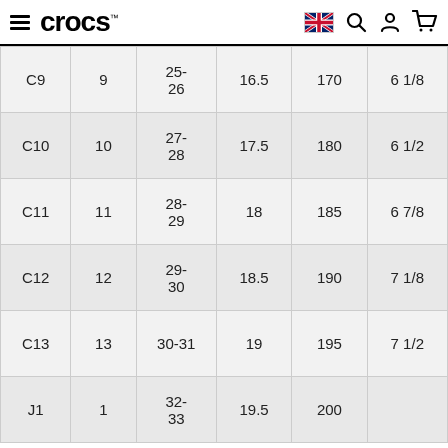crocs - navigation header with hamburger menu, UK flag, search, account, and cart icons
|  |  |  |  |  |  |
| --- | --- | --- | --- | --- | --- |
| C9 | 9 | 25-26 | 16.5 | 170 | 6 1/8 |
| C10 | 10 | 27-28 | 17.5 | 180 | 6 1/2 |
| C11 | 11 | 28-29 | 18 | 185 | 6 7/8 |
| C12 | 12 | 29-30 | 18.5 | 190 | 7 1/8 |
| C13 | 13 | 30-31 | 19 | 195 | 7 1/2 |
| J1 | 1 | 32-33 | 19.5 | 200 | 7 5/8 |